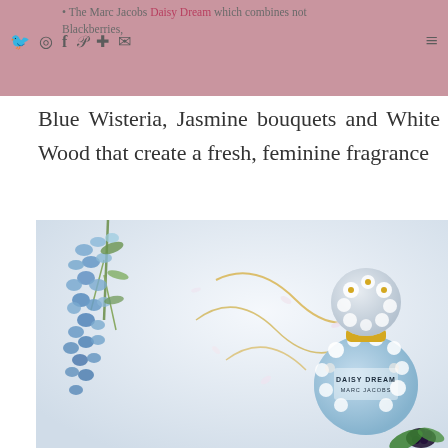The Marc Jacobs Daisy Dream which combines notes of Blackberries,
Blue Wisteria, Jasmine bouquets and White Wood that create a fresh, feminine fragrance
[Figure (photo): Promotional photo of Marc Jacobs Daisy Dream perfume bottle alongside blue wisteria flowers, scattered white petals, gold ribbon decorations, and blackberries on a white background.]